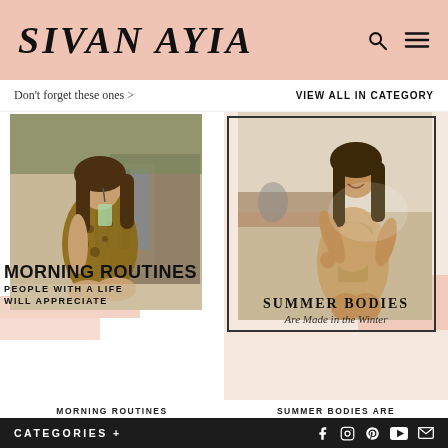SIVAN AYIA
Don't forget these ones >
VIEW ALL IN CATEGORY
[Figure (photo): Woman in leopard print outfit sitting on bed drinking from cup with straw — Morning Routines blog post thumbnail]
[Figure (photo): Woman in beige bikini posing — Summer Bodies Are Made in the Winter blog post thumbnail]
MORNING ROUTINES
PEOPLE WITH A LIFE WILL APPRECIATE
SUMMER BODIES
Are Made in the Winter
MORNING ROUTINES
SUMMER BODIES ARE
CATEGORIES +